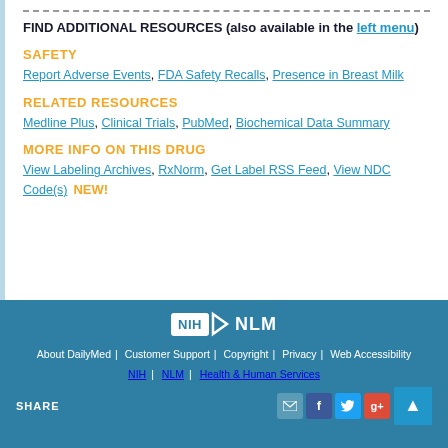FIND ADDITIONAL RESOURCES (also available in the left menu)
SAFETY
Report Adverse Events, FDA Safety Recalls, Presence in Breast Milk
RELATED RESOURCES
Medline Plus, Clinical Trials, PubMed, Biochemical Data Summary
MORE INFO ON THIS DRUG
View Labeling Archives, RxNorm, Get Label RSS Feed, View NDC Code(s) NEW!
[Figure (logo): NIH NLM logo in white on teal background]
About DailyMed | Customer Support | Copyright | Privacy | Web Accessibility
NIH | NLM | Health & Human Services
SHARE